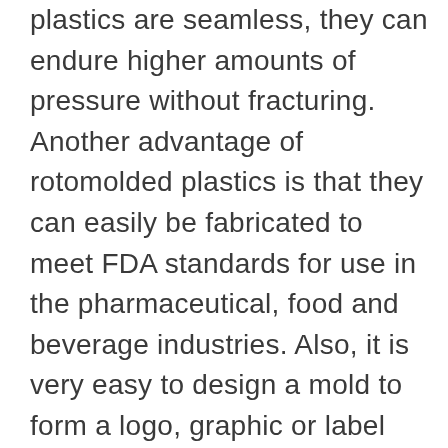plastics are seamless, they can endure higher amounts of pressure without fracturing. Another advantage of rotomolded plastics is that they can easily be fabricated to meet FDA standards for use in the pharmaceutical, food and beverage industries. Also, it is very easy to design a mold to form a logo, graphic or label into a rotomol... See full list on plasticmoldingmanufacturers.com The key to a high quality rotomolded plastic part is a high quality rotomold plastic part manufacturer. To assist you in that endeavor, we've put together a list of some of the best companies in the plastic molding industry. You'll find their profiles distributed around this page. We recommend that you study their profiles with a list of your application and product specifications in hand for comparison. Look for rotational molding companies that not only offer